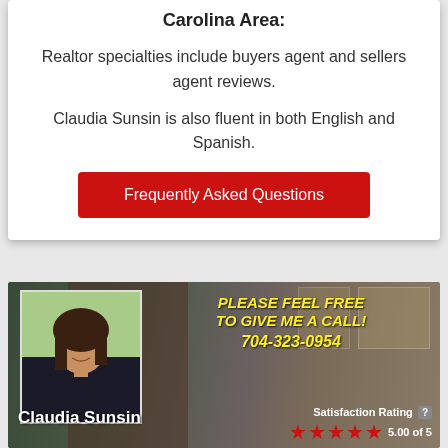Carolina Area:
Realtor specialties include buyers agent and sellers agent reviews.
Claudia Sunsin is also fluent in both English and Spanish.
Frequently Asked Questions
[Figure (photo): Banner with photo of real estate agent Claudia Sunsin, call to action text 'PLEASE FEEL FREE TO GIVE ME A CALL! 704-323-0954', satisfaction rating of 5.00 of 5 stars]
Claudia Sunsin
Satisfaction Rating 5.00 of 5